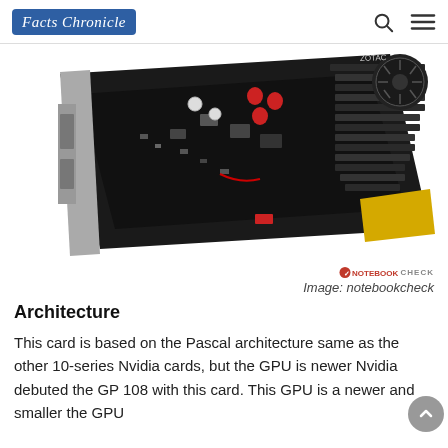Facts Chronicle
[Figure (photo): A ZOTAC GPU graphics card (low profile) shown at an angle on a white background, showing the PCB, heatsink with fan, gold PCIe connector, and bracket with display outputs. NOTEBOOKCHECK watermark visible.]
Image: notebookcheck
Architecture
This card is based on the Pascal architecture same as the other 10-series Nvidia cards, but the GPU is newer Nvidia debuted the GP 108 with this card. This GPU is a newer and smaller the GPU